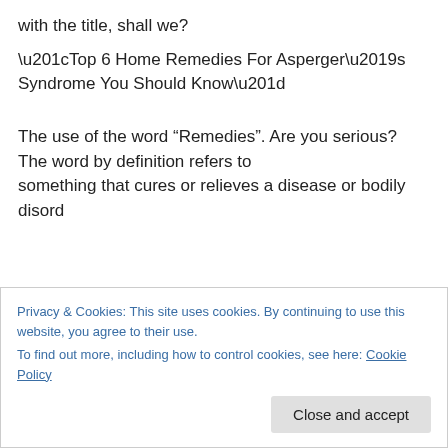with the title, shall we?
“Top 6 Home Remedies For Asperger’s Syndrome You Should Know”
The use of the word “Remedies”. Are you serious? The word by definition refers to something that cures or relieves a disease or bodily disord
Privacy & Cookies: This site uses cookies. By continuing to use this website, you agree to their use.
To find out more, including how to control cookies, see here: Cookie Policy